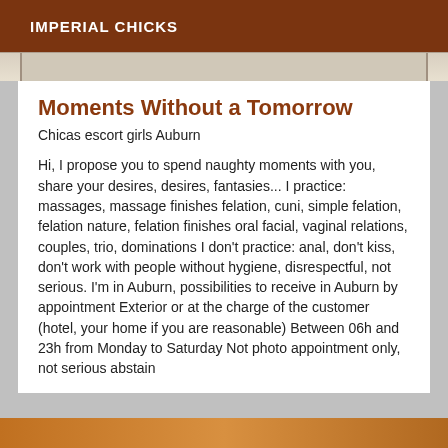IMPERIAL CHICKS
[Figure (photo): Partial image strip showing a blurred/cropped photo at the top of the content card]
Moments Without a Tomorrow
Chicas escort girls Auburn
Hi, I propose you to spend naughty moments with you, share your desires, desires, fantasies... I practice: massages, massage finishes felation, cuni, simple felation, felation nature, felation finishes oral facial, vaginal relations, couples, trio, dominations I don't practice: anal, don't kiss, don't work with people without hygiene, disrespectful, not serious. I'm in Auburn, possibilities to receive in Auburn by appointment Exterior or at the charge of the customer (hotel, your home if you are reasonable) Between 06h and 23h from Monday to Saturday Not photo appointment only, not serious abstain
[Figure (photo): Partial image strip at the bottom of the page]